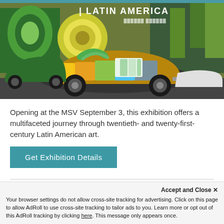[Figure (photo): Colorful art car (VW Beetle style) covered in mosaic and painted designs, parked in front of a mural wall. Text 'LATIN AMERICA' visible in upper right of image.]
Opening at the MSV September 3, this exhibition offers a multifaceted journey through twentieth- and twenty-first-century Latin American art.
Get Exhibition Details
Accept and Close ×
Your browser settings do not allow cross-site tracking for advertising. Click on this page to allow AdRoll to use cross-site tracking to tailor ads to you. Learn more or opt out of this AdRoll tracking by clicking here. This message only appears once.